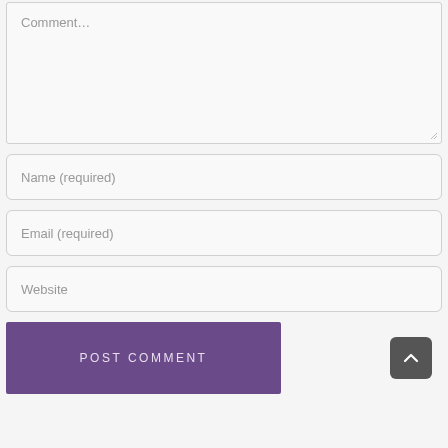[Figure (screenshot): Comment textarea input field with placeholder text 'Comment...' and resize handle]
Name (required)
Email (required)
Website
Post Comment
[Figure (other): Scroll-to-top button with upward chevron arrow]